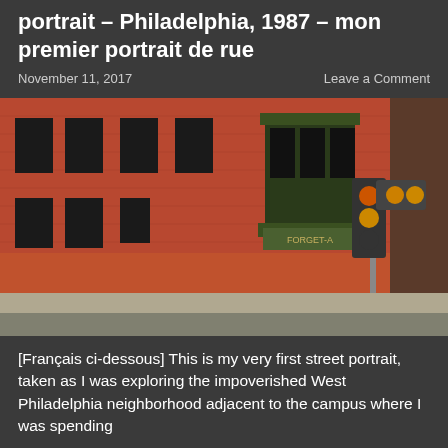portrait – Philadelphia, 1987 – mon premier portrait de rue
November 11, 2017
Leave a Comment
[Figure (photo): Street photography from Philadelphia, 1987. A red brick building with a green bay window and a billboard reading 'FORGET-ABOUT- THE REST'. A traffic light is visible, and a person walks on the sidewalk near a fire hydrant.]
[Français ci-dessous] This is my very first street portrait, taken as I was exploring the impoverished West Philadelphia neighborhood adjacent to the campus where I was spending